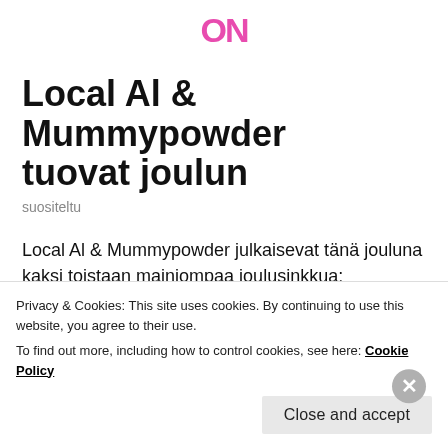ON (logo)
Local Al & Mummypowder tuovat joulun
suositeltu
Local Al & Mummypowder julkaisevat tänä jouluna kaksi toistaan mainiompaa joulusinkkua: maanantaina 9.12. julkaistiin fiilistelyverstio kulttiklassikosta Vaikka kvlmää on ia
Privacy & Cookies: This site uses cookies. By continuing to use this website, you agree to their use.
To find out more, including how to control cookies, see here: Cookie Policy
Close and accept